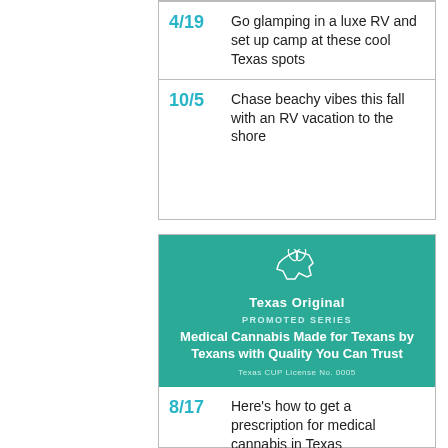4/19  Go glamping in a luxe RV and set up camp at these cool Texas spots
10/5  Chase beachy vibes this fall with an RV vacation to the shore
[Figure (infographic): Texas Original advertisement banner. Teal background with white Texas state outline icon and leaf logo. Text: Texas Original. PROMOTED SERIES. Medical Cannabis Made for Texans by Texans with Quality You Can Trust. Texas CUP License No. 0005]
8/17  Here's how to get a prescription for medical cannabis in Texas
4/20  Celebrate 4/20 with the state's first Texas-owned medical marijuana dispensary